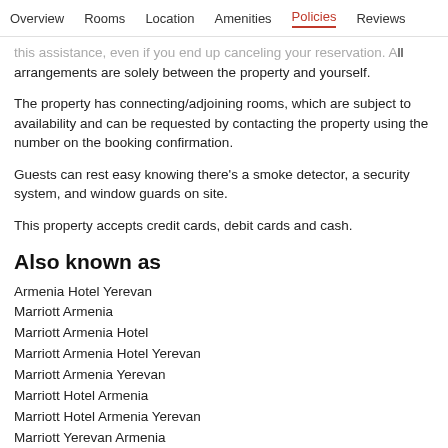Overview  Rooms  Location  Amenities  Policies  Reviews
this assistance, even if you end up canceling your reservation. All arrangements are solely between the property and yourself.
The property has connecting/adjoining rooms, which are subject to availability and can be requested by contacting the property using the number on the booking confirmation.
Guests can rest easy knowing there's a smoke detector, a security system, and window guards on site.
This property accepts credit cards, debit cards and cash.
Also known as
Armenia Hotel Yerevan
Marriott Armenia
Marriott Armenia Hotel
Marriott Armenia Hotel Yerevan
Marriott Armenia Yerevan
Marriott Hotel Armenia
Marriott Hotel Armenia Yerevan
Marriott Yerevan Armenia